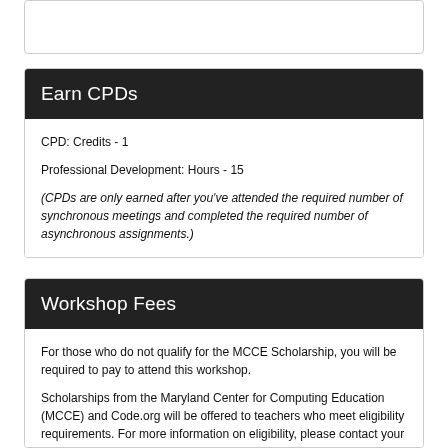Earn CPDs
CPD: Credits - 1
Professional Development: Hours - 15
(CPDs are only earned after you've attended the required number of synchronous meetings and completed the required number of asynchronous assignments.)
Workshop Fees
For those who do not qualify for the MCCE Scholarship, you will be required to pay to attend this workshop.
Scholarships from the Maryland Center for Computing Education (MCCE) and Code.org will be offered to teachers who meet eligibility requirements. For more information on eligibility, please contact your district lead